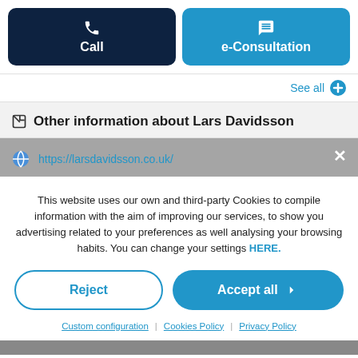[Figure (screenshot): Two buttons: dark navy 'Call' button with phone icon on left, and blue 'e-Consultation' button with chat icon on right]
See all +
Other information about Lars Davidsson
https://larsdavidsson.co.uk/
This website uses our own and third-party Cookies to compile information with the aim of improving our services, to show you advertising related to your preferences as well analysing your browsing habits. You can change your settings HERE.
Reject
Accept all
Custom configuration | Cookies Policy | Privacy Policy